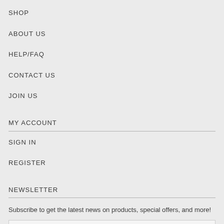SHOP
ABOUT US
HELP/FAQ
CONTACT US
JOIN US
MY ACCOUNT
SIGN IN
REGISTER
NEWSLETTER
Subscribe to get the latest news on products, special offers, and more!